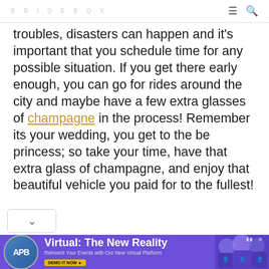BRIDEBOX [logo] ≡ 🔍
troubles, disasters can happen and it's important that you schedule time for any possible situation. If you get there early enough, you can go for rides around the city and maybe have a few extra glasses of champagne in the process! Remember its your wedding, you get to the be princess; so take your time, have that extra glass of champagne, and enjoy that beautiful vehicle you paid for to the fullest!
[Figure (infographic): Advertisement banner for APB Speakers: 'Virtual: The New Reality' with logo, tagline 'Reinvent Your Events with Our New Virtual Platform', and 'DEMO IT NOW' CTA button on purple background with people imagery]